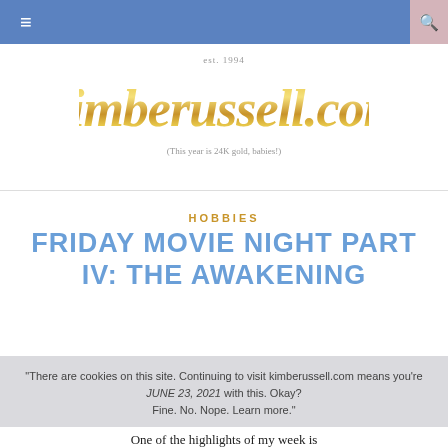≡  🔍
[Figure (logo): kimberussell.com gold script logo with 'est. 1994' above and '(This year is 24K gold, babies!)' below]
HOBBIES
FRIDAY MOVIE NIGHT PART IV: THE AWAKENING
JUNE 23, 2021
There are cookies on this site. Continuing to visit kimberussell.com means you're fine with this. Okay? Fine. No. Nope. Learn more.
One of the highlights of my week is